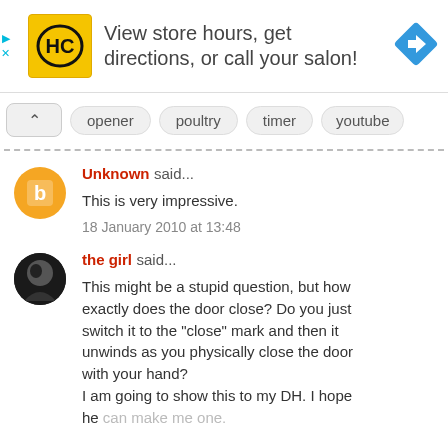[Figure (other): Advertisement banner for Hair Club (HC) salon: yellow HC logo on left, text 'View store hours, get directions, or call your salon!', blue diamond arrow icon on right. Small play and X controls on left side.]
opener  poultry  timer  youtube
Unknown said...
This is very impressive.
18 January 2010 at 13:48
the girl said...
This might be a stupid question, but how exactly does the door close? Do you just switch it to the "close" mark and then it unwinds as you physically close the door with your hand?
I am going to show this to my DH. I hope he can make me one.